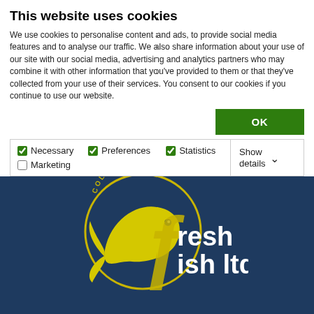This website uses cookies
We use cookies to personalise content and ads, to provide social media features and to analyse our traffic. We also share information about your use of our site with our social media, advertising and analytics partners who may combine it with other information that you’ve provided to them or that they’ve collected from your use of their services. You consent to our cookies if you continue to use our website.
[Figure (screenshot): Cookie consent UI with OK button and checkboxes for Necessary (checked), Preferences (checked), Statistics (checked), Marketing (unchecked), and a Show details dropdown]
[Figure (logo): Colchester Fresh Fish Ltd logo — yellow fish on dark navy background with circular text reading COLCHESTER and white text reading 'resh' and 'ish ltd']